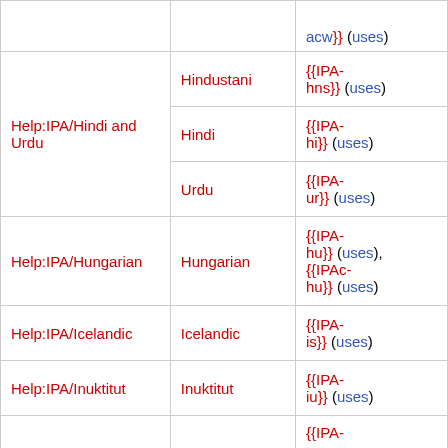| Help page | Language | Templates |
| --- | --- | --- |
|  |  | acw}} (uses) |
| Help:IPA/Hindi and Urdu | Hindustani | {{IPA-hns}} (uses) |
| Help:IPA/Hindi and Urdu | Hindi | {{IPA-hi}} (uses) |
| Help:IPA/Hindi and Urdu | Urdu | {{IPA-ur}} (uses) |
| Help:IPA/Hungarian | Hungarian | {{IPA-hu}} (uses), {{IPAc-hu}} (uses) |
| Help:IPA/Icelandic | Icelandic | {{IPA-is}} (uses) |
| Help:IPA/Inuktitut | Inuktitut | {{IPA-iu}} (uses) |
|  |  | {{IPA- |